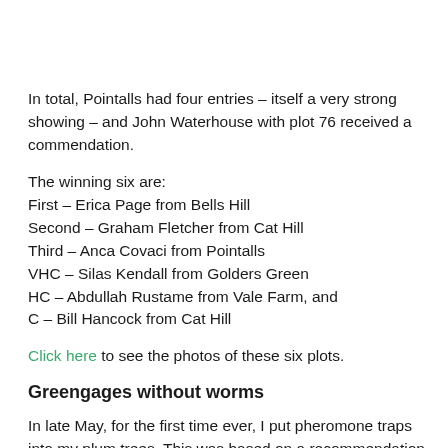In total, Pointalls had four entries – itself a very strong showing – and John Waterhouse with plot 76 received a commendation.
The winning six are:
First – Erica Page from Bells Hill
Second – Graham Fletcher from Cat Hill
Third – Anca Covaci from Pointalls
VHC – Silas Kendall from Golders Green
HC – Abdullah Rustame from Vale Farm, and
C – Bill Hancock from Cat Hill
Click here to see the photos of these six plots.
Greengages without worms
In late May, for the first time ever, I put pheromone traps into my plum trees. This was based on a recommendation from John Waterhouse